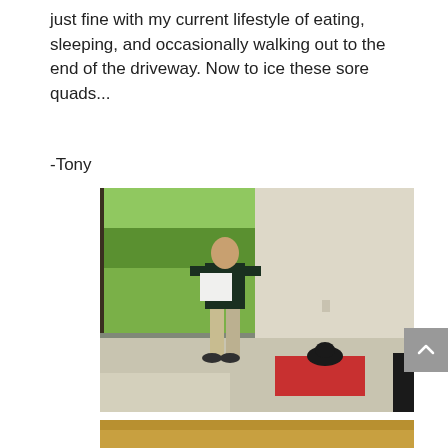just fine with my current lifestyle of eating, sleeping, and occasionally walking out to the end of the driveway. Now to ice these sore quads...
-Tony
[Figure (photo): A man standing in a large empty room or garage, holding a white paper or tablet. A red yoga mat with a black cat on it is visible on the floor in the background. Large open garage door shows green trees outside.]
[Figure (photo): Partial view of a golden/tan colored surface or panel at the bottom of the page.]